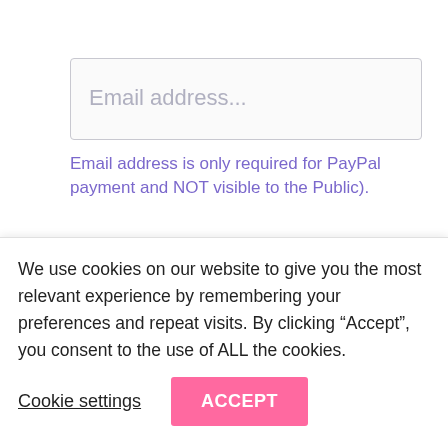Email address...
Email address is only required for PayPal payment and NOT visible to the Public).
10.00
Amount (required) Min. $10.00 - Max. $9,999.00 USD
Your name...
We use cookies on our website to give you the most relevant experience by remembering your preferences and repeat visits. By clicking “Accept”, you consent to the use of ALL the cookies.
Cookie settings
ACCEPT